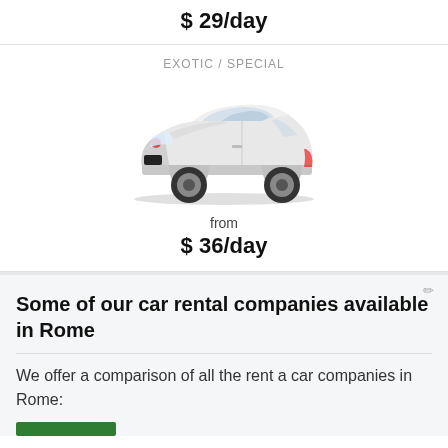$ 29/day
EXOTIC / SPECIAL
[Figure (photo): White Renault Clio hatchback car, side-front view on white background]
from
$ 36/day
Some of our car rental companies available in Rome
We offer a comparison of all the rent a car companies in Rome: